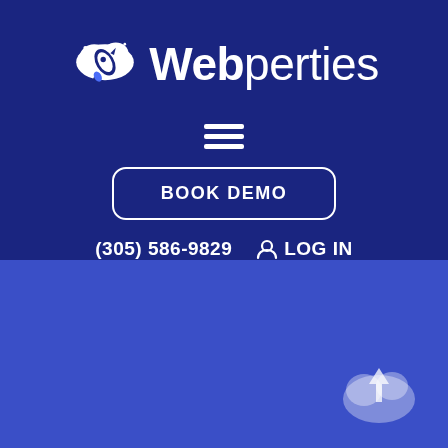[Figure (logo): Webperties logo with rocket cloud icon and text 'Webperties']
[Figure (other): Hamburger menu icon (three horizontal white lines)]
BOOK DEMO
(305) 586-9829   LOG IN
[Figure (other): Cloud upload icon in bottom right corner]